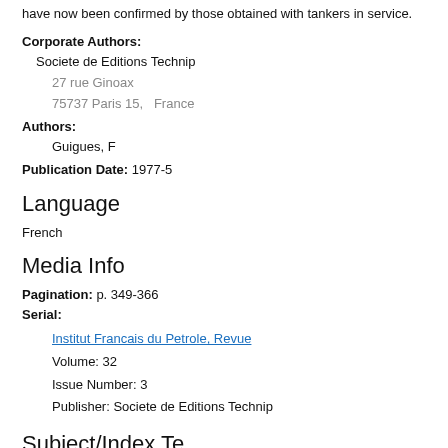have now been confirmed by those obtained with tankers in service.
Corporate Authors: Societe de Editions Technip 27 rue Ginoax 75737 Paris 15, France
Authors: Guigues, F
Publication Date: 1977-5
Language
French
Media Info
Pagination: p. 349-366
Serial: Institut Francais du Petrole, Revue Volume: 32 Issue Number: 3 Publisher: Societe de Editions Technip
Subject/Index Terms